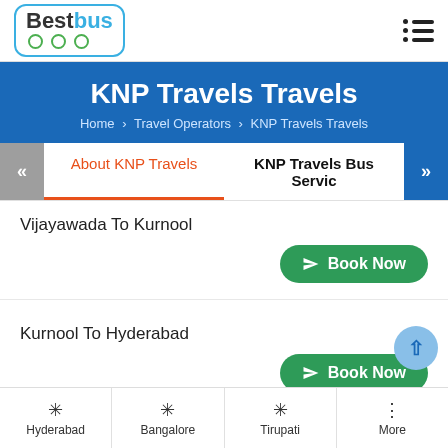BestBus logo and hamburger menu
KNP Travels Travels
Home > Travel Operators > KNP Travels Travels
About KNP Travels | KNP Travels Bus Servic
Vijayawada To Kurnool
Book Now
Kurnool To Hyderabad
Book Now
Hyderabad   Bangalore   Tirupati   More